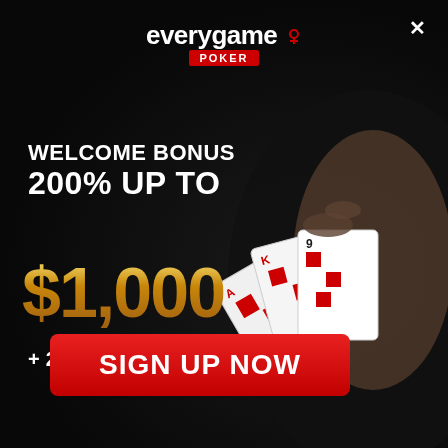[Figure (illustration): Everygame Poker advertisement banner with dark background, a hand holding playing cards on the right side, welcome bonus offer text, and a red sign up button]
everygame POKER
WELCOME BONUS
200% UP TO
$1,000
+ 25 CASINO FREE SPINS!
SIGN UP NOW